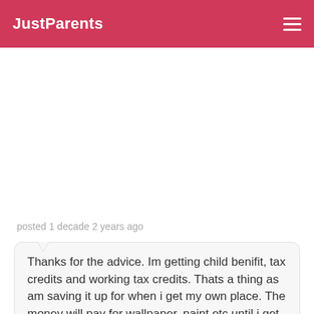JustParents
posted 1 decade 2 years ago
Thanks for the advice. Im getting child benifit, tax credits and working tax credits. Thats a thing as am saving it up for when i get my own place. The money will pay for wallpaper, paint etc until i get on my feet then the money